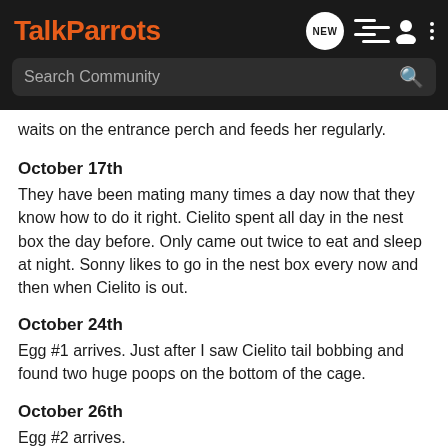TalkParrots
waits on the entrance perch and feeds her regularly.
October 17th
They have been mating many times a day now that they know how to do it right. Cielito spent all day in the nest box the day before. Only came out twice to eat and sleep at night. Sonny likes to go in the nest box every now and then when Cielito is out.
October 24th
Egg #1 arrives. Just after I saw Cielito tail bobbing and found two huge poops on the bottom of the cage.
October 26th
Egg #2 arrives.